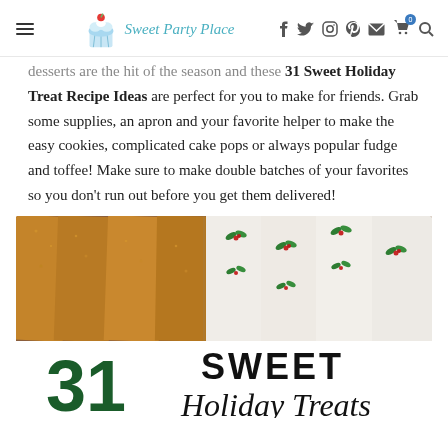Sweet Party Place — navigation header with logo and social/cart icons
desserts are the hit of the season and these 31 Sweet Holiday Treat Recipe Ideas are perfect for you to make for friends. Grab some supplies, an apron and your favorite helper to make the easy cookies, complicated cake pops or always popular fudge and toffee! Make sure to make double batches of your favorites so you don't run out before you get them delivered!
[Figure (photo): Photo of chocolate-dipped pretzel rods decorated with white chocolate and holiday holly sprigs (red and green), overlaid with text '31 SWEET Holiday Treats']